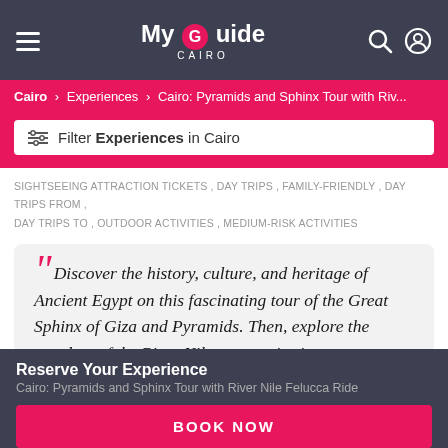My Guide CAIRO
Cairo > Experiences > Cairo: Pyramids and Sphinx Tour with Riv...
Filter Experiences in Cairo
SIGHTSEEING ATTRACTION TICKETS , DAY TRIPS , FAMILY-FRIENDLY , DAY TRIPS FROM , DAY TRIPS TO , OUTDOOR ACTIVITIES , MEDIUM-RISK ACTIVITIES
“Discover the history, culture, and heritage of Ancient Egypt on this fascinating tour of the Great Sphinx of Giza and Pyramids. Then, explore the wonders of the River Nile on a cruise in a
Reserve Your Experience
Cairo: Pyramids and Sphinx Tour with River Nile Felucca Ride
BOOK NOW